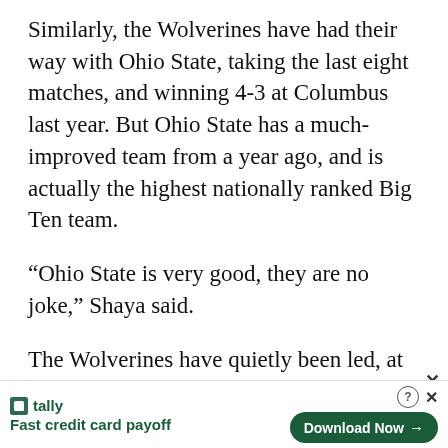Similarly, the Wolverines have had their way with Ohio State, taking the last eight matches, and winning 4-3 at Columbus last year. But Ohio State has a much-improved team from a year ago, and is actually the highest nationally ranked Big Ten team.
“Ohio State is very good, they are no joke,” Shaya said.
The Wolverines have quietly been led, at least statistically, by an unlikely, and largely unknown player, freshman Anthony Jackson.
Despite being thrust into the starting lineup
[Figure (other): Tally app advertisement banner: 'Fast credit card payoff' with Download Now button]